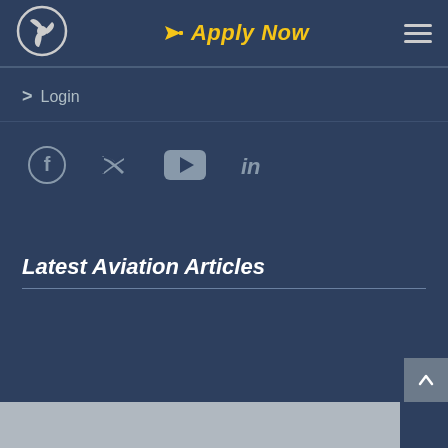[Figure (logo): Aviation school logo — circular emblem with propeller/fan blade design in white on dark navy background]
Apply Now
[Figure (other): Hamburger menu icon — three horizontal white lines]
> Login
[Figure (other): Social media icons row: Facebook, Twitter, YouTube, LinkedIn in grey]
Latest Aviation Articles